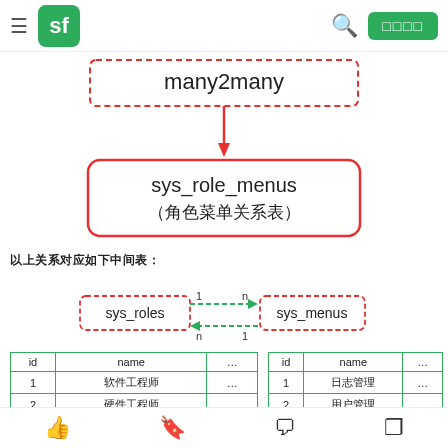sf | 搜索 | □□□□
[Figure (flowchart): Flowchart showing many2many relationship pointing down via red dashed box labeled 'many2many' with red arrow to a red-bordered box labeled 'sys_role_menus（角色菜单关系表）']
以上表格的关系可以用以下关系图来表示：（仅示例，具体关系请参考实际项目）
[Figure (flowchart): Relationship diagram showing sys_roles (1) <-> (n) sys_menus with dashed red borders and green dashed arrows with cardinalities 1 and n]
| id | name | ... |
| --- | --- | --- |
| 1 | 软件工程师 | ... |
| 2 | 硬件工程师 | ... |
| id | name | ... |
| --- | --- | --- |
| 1 | 日志管理 | ... |
| 2 | 用户管理 | ... |
👍 bookmark comment share